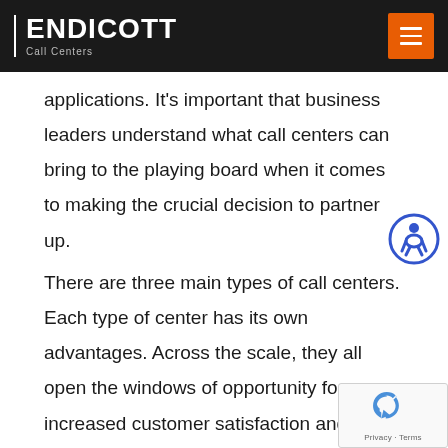ENDICOTT Call Centers
applications. It’s important that business leaders understand what call centers can bring to the playing board when it comes to making the crucial decision to partner up.
There are three main types of call centers. Each type of center has its own advantages. Across the scale, they all open the windows of opportunity for increased customer satisfaction and the potential for increased sales.